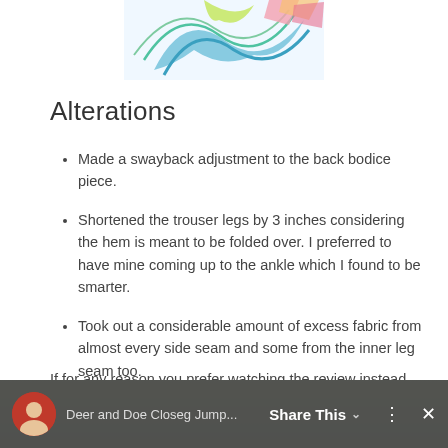[Figure (illustration): Colorful decorative illustration with waves and geometric shapes in blue, green, yellow and pink tones, partially visible at top of page.]
Alterations
Made a swayback adjustment to the back bodice piece.
Shortened the trouser legs by 3 inches considering the hem is meant to be folded over. I preferred to have mine coming up to the ankle which I found to be smarter.
Took out a considerable amount of excess fabric from almost every side seam and some from the inner leg seam too.
If for any reason you prefer watching the review instead, here is the youtube video where I review this jumpsuit.
[Figure (screenshot): YouTube video thumbnail showing a person with a share bar overlay reading 'Share This' with a chevron, video title 'Deer and Doe Closeg Jump...' and close button.]